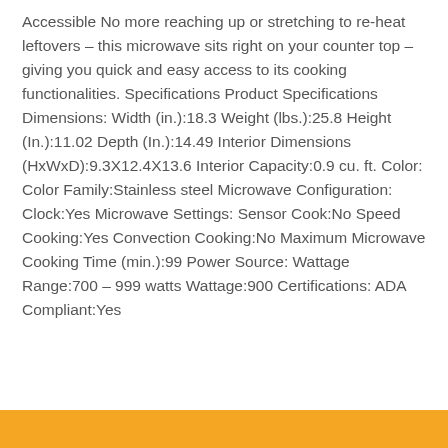Accessible No more reaching up or stretching to re-heat leftovers – this microwave sits right on your counter top – giving you quick and easy access to its cooking functionalities. Specifications Product Specifications Dimensions: Width (in.):18.3 Weight (lbs.):25.8 Height (In.):11.02 Depth (In.):14.49 Interior Dimensions (HxWxD):9.3X12.4X13.6 Interior Capacity:0.9 cu. ft. Color: Color Family:Stainless steel Microwave Configuration: Clock:Yes Microwave Settings: Sensor Cook:No Speed Cooking:Yes Convection Cooking:No Maximum Microwave Cooking Time (min.):99 Power Source: Wattage Range:700 – 999 watts Wattage:900 Certifications: ADA Compliant:Yes